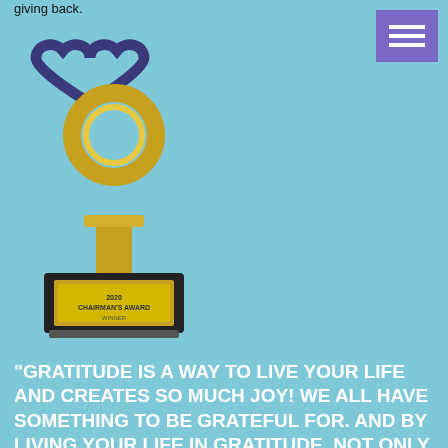giving back.
[Figure (illustration): Gold award trophy with a heart-shaped ring on top and a black base labeled '2020 CHAIRMAN'S AWARD WINNER']
“GRATITUDE IS A WAY TO LIVE YOUR LIFE AND CREATES SO MUCH JOY! WE ALL HAVE SOMETHING TO BE GRATEFUL FOR. AND BY LIVING YOUR LIFE IN GRATITUDE, NOT ONLY CAN YOU HELP OTHERS, BUT IT OPENS THE DOOR FOR OTHERS TO BE INSPIRED TO GIVE ALONG WITH YOU! WHEN YOU STEP OUT, BIG OR SMALL, IT